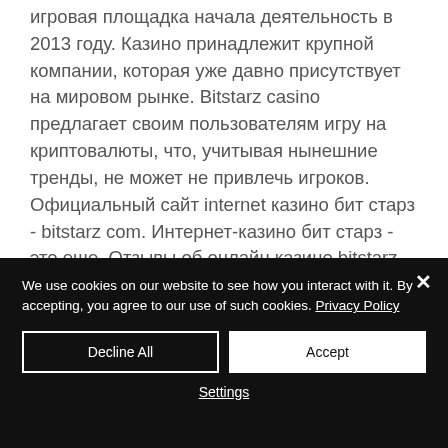игровая площадка начала деятельность в 2013 году. Казино принадлежит крупной компании, которая уже давно присутствует на мировом рынке. Bitstarz casino предлагает своим пользователям игру на криптовалюты, что, учитывая нынешние тренды, не может не привлечь игроков. Официальный сайт internet казино бит старз - bitstarz com. Интернет-казино бит старз - это еще. Отзывы об онлайн казино bitstarz. Com, какая платформа? обзоры бонусов: промокоды, бездепозитный бонус, условия отыгрыша.
We use cookies on our website to see how you interact with it. By accepting, you agree to our use of such cookies. Privacy Policy
Decline All
Accept
Settings